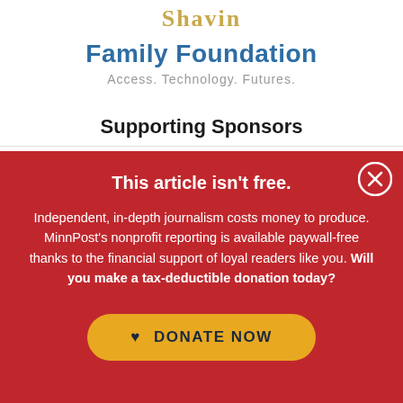[Figure (logo): Shavin Family Foundation logo with text 'Family Foundation' in blue and tagline 'Access. Technology. Futures.' in gray]
Supporting Sponsors
This article isn't free.
Independent, in-depth journalism costs money to produce. MinnPost's nonprofit reporting is available paywall-free thanks to the financial support of loyal readers like you. Will you make a tax-deductible donation today?
[Figure (other): DONATE NOW button in gold/amber color with a heart icon, on red background]